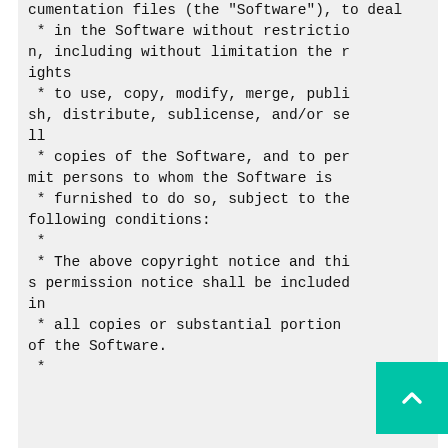cumentation files (the "Software"), to deal
 * in the Software without restriction, including without limitation the rights
 * to use, copy, modify, merge, publish, distribute, sublicense, and/or sell
 * copies of the Software, and to permit persons to whom the Software is
 * furnished to do so, subject to the following conditions:
 *
 * The above copyright notice and this permission notice shall be included in
 * all copies or substantial portions of the Software.
 *